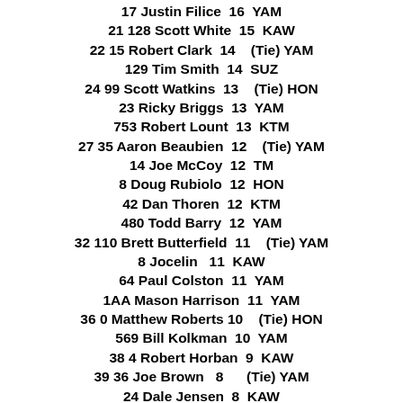17 Justin Filice  16  YAM
21 128 Scott White  15  KAW
22 15 Robert Clark  14    (Tie) YAM
129 Tim Smith  14  SUZ
24 99 Scott Watkins  13    (Tie) HON
23 Ricky Briggs  13  YAM
753 Robert Lount  13  KTM
27 35 Aaron Beaubien  12    (Tie) YAM
14 Joe McCoy  12  TM
8 Doug Rubiolo  12  HON
42 Dan Thoren  12  KTM
480 Todd Barry  12  YAM
32 110 Brett Butterfield  11    (Tie) YAM
8 Jocelin   11  KAW
64 Paul Colston  11  YAM
1AA Mason Harrison  11  YAM
36 0 Matthew Roberts 10    (Tie) HON
569 Bill Kolkman  10  YAM
38 4 Robert Horban  9  KAW
39 36 Joe Brown   8      (Tie) YAM
24 Dale Jensen  8  KAW